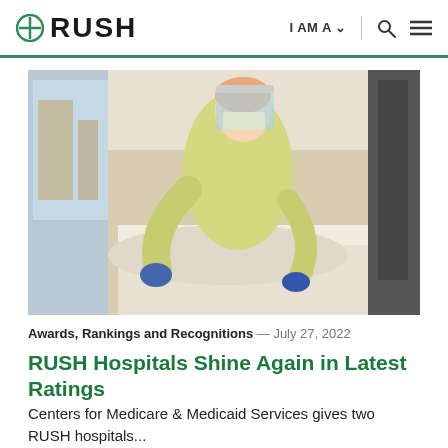RUSH | I AM A | [search] [menu]
[Figure (photo): Healthcare worker wearing full PPE (face shield, yellow gown, blue gloves) leaning over a patient in a hospital bed, assisting the patient.]
Awards, Rankings and Recognitions — July 27, 2022
RUSH Hospitals Shine Again in Latest Ratings
Centers for Medicare & Medicaid Services gives two RUSH hospitals...